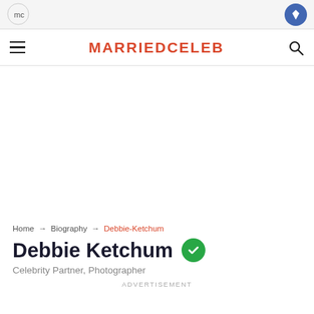[Figure (screenshot): Ad bar at top with logo icons]
MARRIEDCELEB
[Figure (screenshot): Large white advertisement space]
Home → Biography → Debbie-Ketchum
Debbie Ketchum
Celebrity Partner, Photographer
ADVERTISEMENT